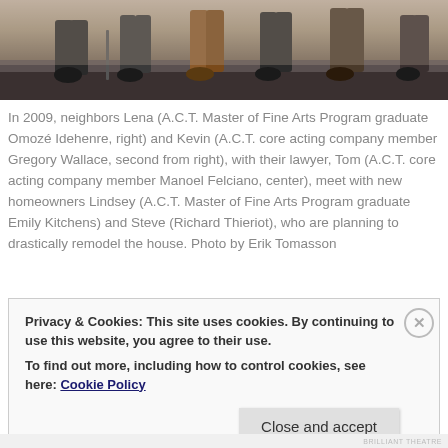[Figure (photo): A row of people seated, showing mostly their lower bodies/legs, sitting on what appears to be a stage or platform. The image is cropped at the top showing seated figures.]
In 2009, neighbors Lena (A.C.T. Master of Fine Arts Program graduate Omozé Idehenre, right) and Kevin (A.C.T. core acting company member Gregory Wallace, second from right), with their lawyer, Tom (A.C.T. core acting company member Manoel Felciano, center), meet with new homeowners Lindsey (A.C.T. Master of Fine Arts Program graduate Emily Kitchens) and Steve (Richard Thieriot), who are planning to drastically remodel the house. Photo by Erik Tomasson
Privacy & Cookies: This site uses cookies. By continuing to use this website, you agree to their use.
To find out more, including how to control cookies, see here: Cookie Policy
Close and accept